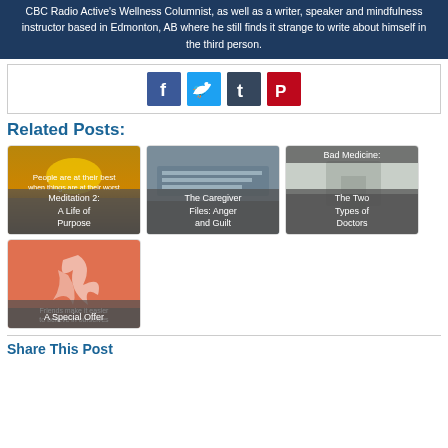CBC Radio Active's Wellness Columnist, as well as a writer, speaker and mindfulness instructor based in Edmonton, AB where he still finds it strange to write about himself in the third person.
[Figure (infographic): Social sharing buttons: Facebook, Twitter, Tumblr, Pinterest]
Related Posts:
[Figure (photo): Meditation 2: A Life of Purpose - blog post thumbnail]
[Figure (photo): The Caregiver Files: Anger and Guilt - blog post thumbnail]
[Figure (photo): Bad Medicine: The Two Types of Doctors - blog post thumbnail]
[Figure (photo): A Special Offer - blog post thumbnail]
Share This Post